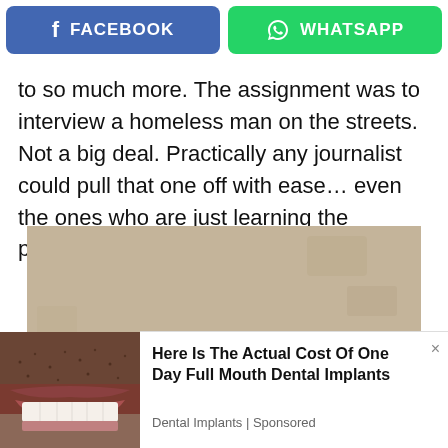[Figure (screenshot): Facebook share button (blue) and WhatsApp share button (green) side by side at top of page]
to so much more. The assignment was to interview a homeless man on the streets. Not a big deal. Practically any journalist could pull that one off with ease… even the ones who are just learning the profession.
[Figure (photo): Photo of a young man with dark hair against a beige/concrete wall background, partially visible]
[Figure (photo): Advertisement image showing close-up of a mouth with teeth and stubble]
Here Is The Actual Cost Of One Day Full Mouth Dental Implants
Dental Implants | Sponsored